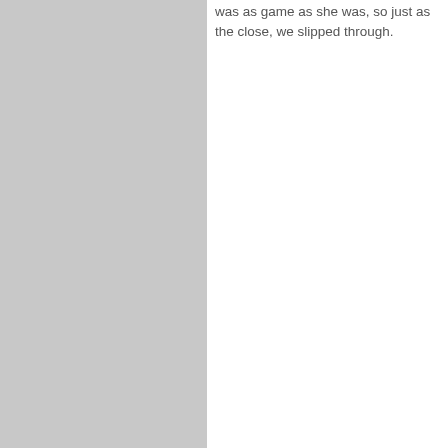[Figure (other): Gray rectangle occupying the left half of the page]
was as game as she was, so just as the close, we slipped through.